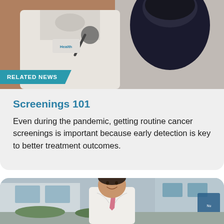[Figure (photo): Photo of a doctor in a white coat holding a stethoscope, examining a patient. Hospital/clinic background visible.]
RELATED NEWS
Screenings 101
Even during the pandemic, getting routine cancer screenings is important because early detection is key to better treatment outcomes.
[Figure (photo): Photo of a smiling male doctor in a white coat with a pink tie, standing outside a medical building.]